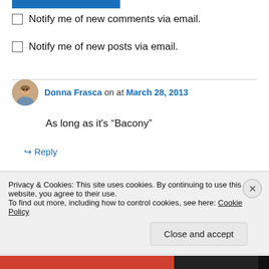[Figure (other): Blue progress bar at top of page]
Notify me of new comments via email.
Notify me of new posts via email.
Donna Frasca on at March 28, 2013
As long as it's “Bacony”
↪ Reply
Privacy & Cookies: This site uses cookies. By continuing to use this website, you agree to their use.
To find out more, including how to control cookies, see here: Cookie Policy
Close and accept